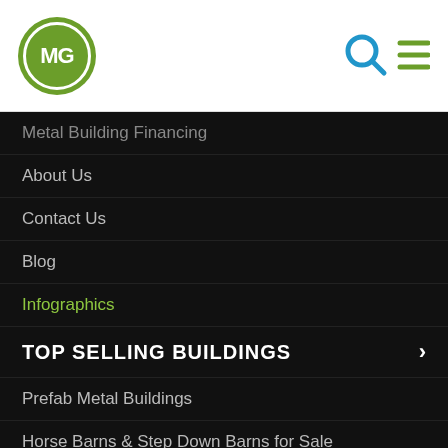[Figure (logo): CMG logo: green circle with white CMG letters inside white inner circle border]
[Figure (other): Search icon (magnifying glass) and hamburger menu icon in header]
Metal Building Financing
About Us
Contact Us
Blog
Infographics
TOP SELLING BUILDINGS
Prefab Metal Buildings
Horse Barns & Step Down Barns for Sale
Metal Carports
Metal Garages for Sale
Clear Span Buildings